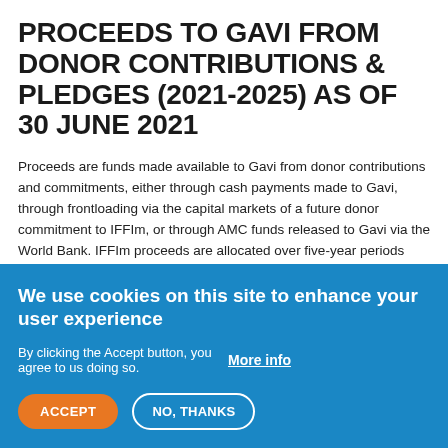PROCEEDS TO GAVI FROM DONOR CONTRIBUTIONS & PLEDGES (2021-2025) AS OF 30 JUNE 2021
Proceeds are funds made available to Gavi from donor contributions and commitments, either through cash payments made to Gavi, through frontloading via the capital markets of a future donor commitment to IFFIm, or through AMC funds released to Gavi via the World Bank. IFFIm proceeds are allocated over five-year periods coinciding with Gavi's strategic periods. Proceeds for the current and future strategic periods are indicative until the end of each period and could be revised following changes in market conditions (interest rates or foreign exchange rates), the signing of new
We use cookies on this site to enhance your user experience
By clicking the Accept button, you agree to us doing so.   More info
ACCEPT   NO, THANKS